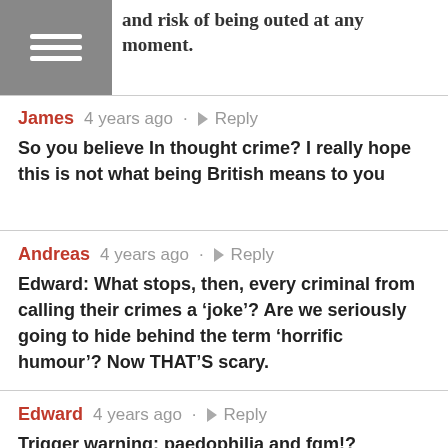and risk of being outed at any moment.
James  4 years ago  ·  Reply
So you believe In thought crime? I really hope this is not what being British means to you
Andreas  4 years ago  ·  Reply
Edward: What stops, then, every criminal from calling their crimes a ‘joke’? Are we seriously going to hide behind the term ‘horrific humour’? Now THAT’S scary.
Edward  4 years ago  ·  Reply
Trigger warning: paedophilia and fgm!?